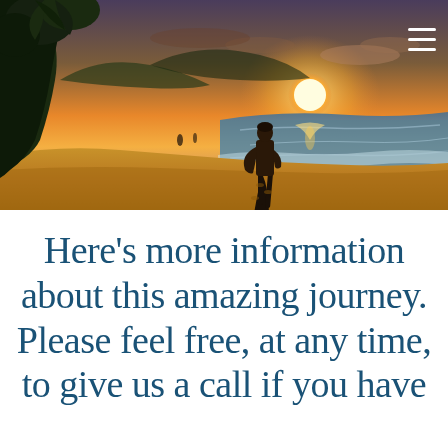[Figure (photo): A surfer walking along a tropical beach at sunset, carrying a surfboard. The beach is sandy with lush vegetation on the left and ocean waves on the right. The sky is golden-orange with the sun low on the horizon. A hamburger menu icon (three white horizontal lines) appears in the top-right corner.]
Here's more information about this amazing journey. Please feel free, at any time, to give us a call if you have any questions!